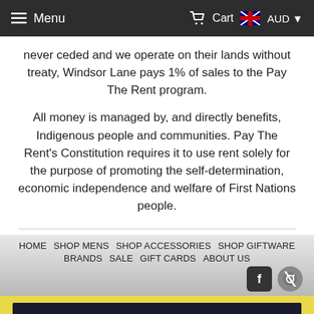Menu  Cart  AUD
never ceded and we operate on their lands without treaty, Windsor Lane pays 1% of sales to the Pay The Rent program.
All money is managed by, and directly benefits, Indigenous people and communities. Pay The Rent's Constitution requires it to use rent solely for the purpose of promoting the self-determination, economic independence and welfare of First Nations people.
HOME  SHOP MENS  SHOP ACCESSORIES  SHOP GIFTWARE  BRANDS  SALE  GIFT CARDS  ABOUT US
JOIN THE LIST
SIGN UP
Chat with us